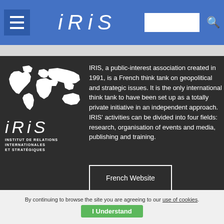IRIS
[Figure (logo): IRIS logo with world map and text: IRIS, INSTITUT DE RELATIONS INTERNATIONALES ET STRATÉGIQUES]
IRIS, a public-interest association created in 1991, is a French think tank on geopolitical and strategic issues. It is the only international think tank to have been set up as a totally private initiative in an independent approach. IRIS' activities can be divided into four fields: research, organisation of events and media, publishing and training.
French Website
By continuing to browse the site you are agreeing to our use of cookies.
I Understand